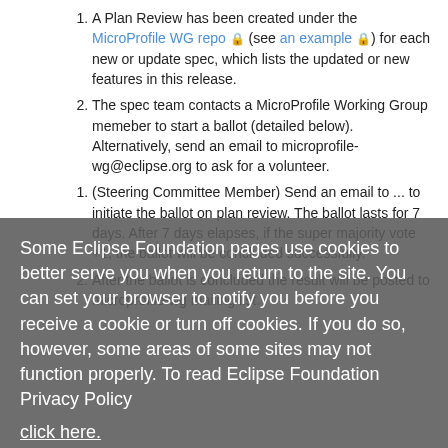A Plan Review has been created under the MicroProfile WG repo 🔒 (see an example 🔒) for each new or update spec, which lists the updated or new features in this release.
The spec team contacts a MicroProfile Working Group memeber to start a ballot (detailed below). Alternatively, send an email to microprofile-wg@eclipse.org to ask for a volunteer.
(Steering Committee Member) Send an email to ... to initiate the ballot on plan review. The ballot lasts for 7 days. After 7 days elapses, if the super majority vote +1, the ballot will be concluded successfully.
After the ballot is concluded the result will be posted to microprofile-wg mailing list.
Some Eclipse Foundation pages use cookies to better serve you when you return to the site. You can set your browser to notify you before you receive a cookie or turn off cookies. If you do so, however, some areas of some sites may not function properly. To read Eclipse Foundation Privacy Policy click here.
Pre-Release Review Steps